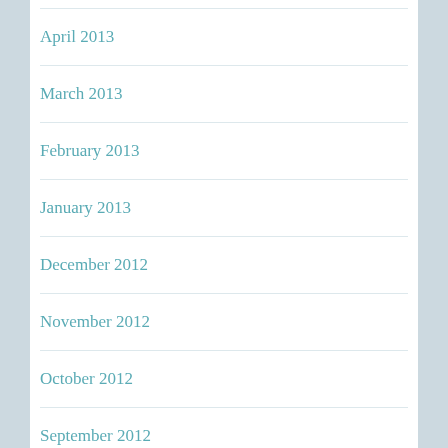April 2013
March 2013
February 2013
January 2013
December 2012
November 2012
October 2012
September 2012
August 2012
July 2012